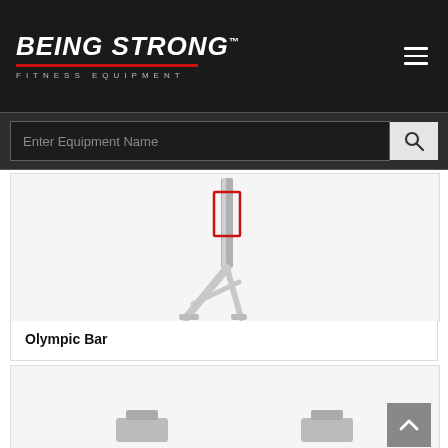BEING STRONG FITNESS EQUIPMENT
Enter Equipment Name
[Figure (photo): Olympic Bar fitness equipment product image shown in a white product card with a red-outlined detail area]
Olympic Bar
[Figure (photo): Second fitness equipment product card, partially visible at bottom of page with gray scroll-to-top button overlay]